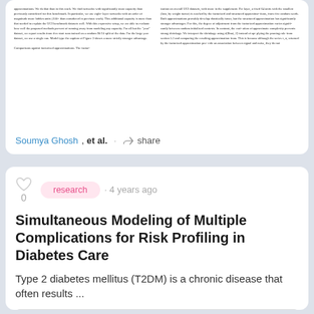[Figure (screenshot): Cropped view of a two-column academic paper page with dense body text]
Soumya Ghosh, et al. · share
research · 4 years ago
Simultaneous Modeling of Multiple Complications for Risk Profiling in Diabetes Care
Type 2 diabetes mellitus (T2DM) is a chronic disease that often results ...
[Figure (table-as-image): Thumbnail of a performance comparison table from the paper Simultaneous Modeling of Multiple Complications for Risk Profiling in Diabetes Care]